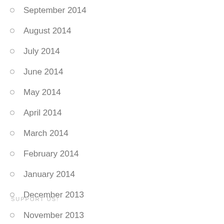September 2014
August 2014
July 2014
June 2014
May 2014
April 2014
March 2014
February 2014
January 2014
December 2013
November 2013
October 2013
September 2013
August 2013
SUPPORT US!